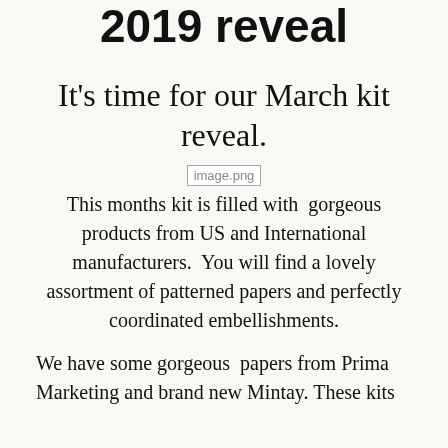2019 reveal
It's time for our March kit reveal.
[Figure (photo): image.png placeholder]
This months kit is filled with  gorgeous products from US and International manufacturers.  You will find a lovely assortment of patterned papers and perfectly coordinated embellishments.
We have some gorgeous  papers from Prima Marketing and brand new Mintay. These kits